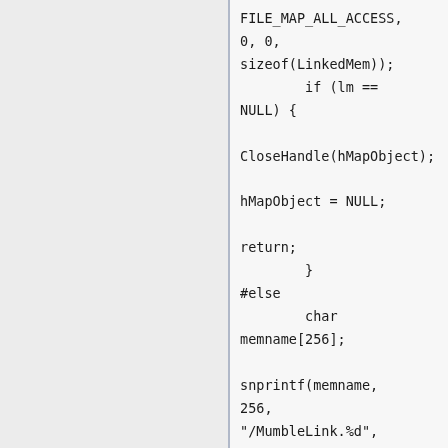FILE_MAP_ALL_ACCESS,
0, 0,
sizeof(LinkedMem));
        if (lm ==
NULL) {

CloseHandle(hMapObject);

hMapObject = NULL;

return;
        }
#else
        char
memname[256];

snprintf(memname,
256,
"/MumbleLink.%d",
getuid());

        int shmfd =
shm_open(memname,
O_RDWR, S_IRUSR |
S_IWUSR);